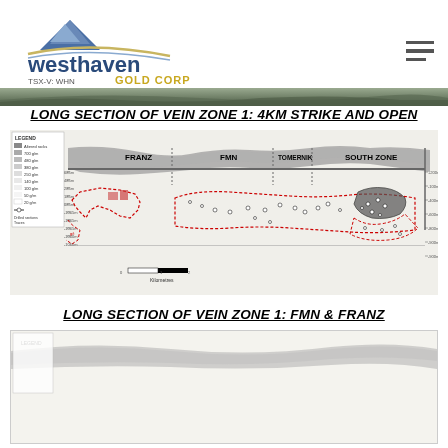Westhaven Gold Corp TSX-V: WHN
LONG SECTION OF VEIN ZONE 1: 4KM STRIKE AND OPEN
[Figure (engineering-diagram): Long section geological diagram of Vein Zone 1 showing 4km strike. Labels include FRANZ, FMN, TOMERNIK, SOUTH ZONE. Red dashed outlines indicate drill intercepts and vein zones. Gray shading shows geological formations. Elevation markers on both sides. Scale bar in kilometres at bottom.]
LONG SECTION OF VEIN ZONE 1: FMN & FRANZ
[Figure (engineering-diagram): Partial view of long section of Vein Zone 1 focusing on FMN and Franz zones. Bottom portion of diagram visible.]